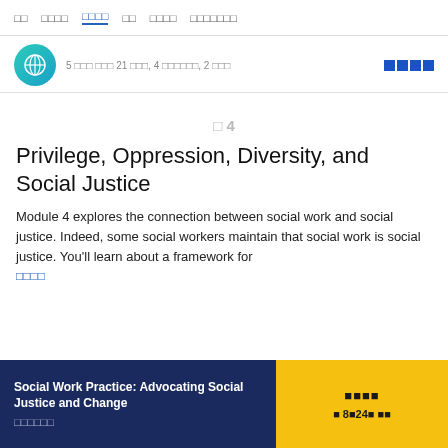□□  □□□□  □□□□  □□  □□□□  □□□□□□□
[Figure (logo): Teal circular avatar icon with compass/globe symbol]
5 □□□ □□□ 21 □□□, 4 □□□□□□, 2 □□□  ■■■■
□ 4
Privilege, Oppression, Diversity, and Social Justice
Module 4 explores the connection between social work and social justice. Indeed, some social workers maintain that social work is social justice. You'll learn about a framework for
□□□□
Social Work Practice: Advocating Social Justice and Change
□□□□□□
■■■■
■ 8■24■ ■■